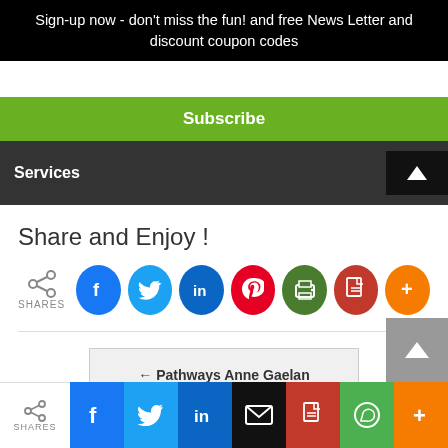Sign-up now - don't miss the fun! and free News Letter and discount coupon codes
Subscribe
Services
Share and Enjoy !
[Figure (infographic): Social share buttons: share icon with SHARES label, Facebook, Twitter, LinkedIn, Pinterest, Print, PDF, More (+)]
← Pathways Anne Gaelan
[Figure (infographic): Bottom share bar with SHARES, Facebook, Twitter, LinkedIn, Email, PDF, WhatsApp, More (+) buttons]